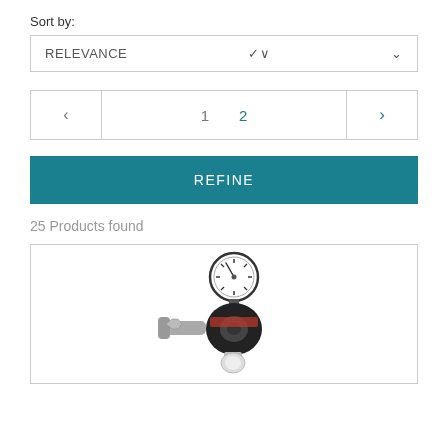Sort by:
RELEVANCE
< 1 2 >
REFINE
25 Products found
[Figure (photo): A gas pressure regulator with a round pressure gauge on top, a black body, metal inlet connector on the left, and a white outlet fitting at the bottom.]